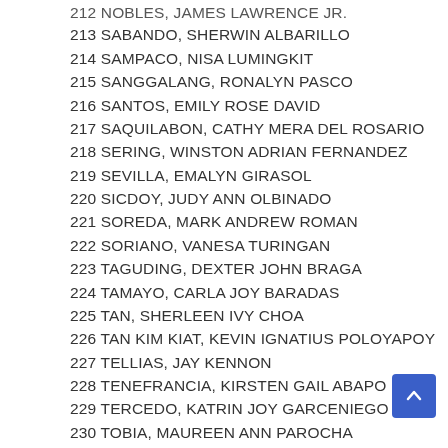212 [partially visible name]
213 SABANDO, SHERWIN ALBARILLO
214 SAMPACO, NISA LUMINGKIT
215 SANGGALANG, RONALYN PASCO
216 SANTOS, EMILY ROSE DAVID
217 SAQUILABON, CATHY MERA DEL ROSARIO
218 SERING, WINSTON ADRIAN FERNANDEZ
219 SEVILLA, EMALYN GIRASOL
220 SICDOY, JUDY ANN OLBINADO
221 SOREDA, MARK ANDREW ROMAN
222 SORIANO, VANESA TURINGAN
223 TAGUDING, DEXTER JOHN BRAGA
224 TAMAYO, CARLA JOY BARADAS
225 TAN, SHERLEEN IVY CHOA
226 TAN KIM KIAT, KEVIN IGNATIUS POLOYAPOY
227 TELLIAS, JAY KENNON
228 TENEFRANCIA, KIRSTEN GAIL ABAPO
229 TERCEDO, KATRIN JOY GARCENIEGO
230 TOBIA, MAUREEN ANN PAROCHA
231 TOBIAS, YENI PREP DORADO (partially visible)